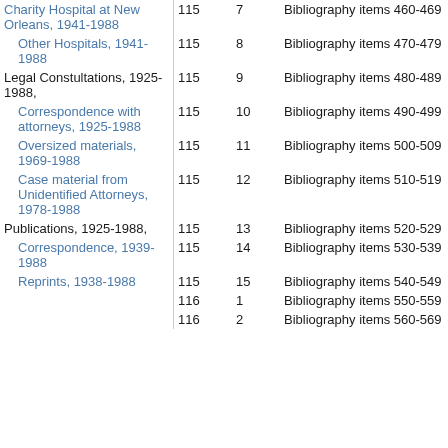| Description | Box | Folder | Content |
| --- | --- | --- | --- |
| Charity Hospital at New Orleans, 1941-1988 | 115 | 7 | Bibliography items 460-469 |
| Other Hospitals, 1941-1988 | 115 | 8 | Bibliography items 470-479 |
| Legal Constultations, 1925-1988, | 115 | 9 | Bibliography items 480-489 |
| Correspondence with attorneys, 1925-1988 | 115 | 10 | Bibliography items 490-499 |
| Oversized materials, 1969-1988 | 115 | 11 | Bibliography items 500-509 |
| Case material from Unidentified Attorneys, 1978-1988 | 115 | 12 | Bibliography items 510-519 |
| Publications, 1925-1988, | 115 | 13 | Bibliography items 520-529 |
| Correspondence, 1939-1988 | 115 | 14 | Bibliography items 530-539 |
| Reprints, 1938-1988 | 115 | 15 | Bibliography items 540-549 |
|  | 116 | 1 | Bibliography items 550-559 |
|  | 116 | 2 | Bibliography items 560-569 |